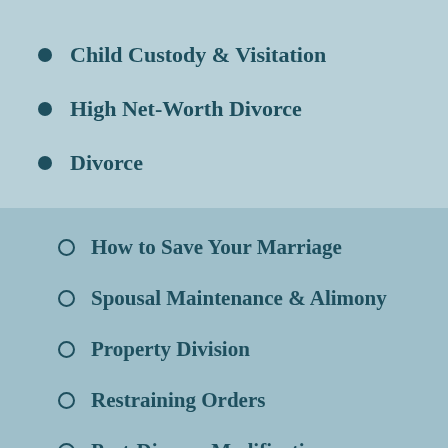Child Custody & Visitation
High Net-Worth Divorce
Divorce
How to Save Your Marriage
Spousal Maintenance & Alimony
Property Division
Restraining Orders
Post-Divorce Modifications